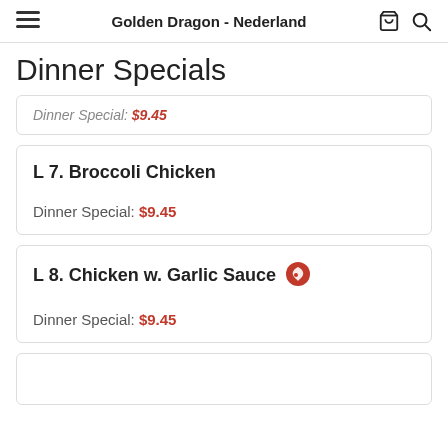Golden Dragon - Nederland
Dinner Specials
Dinner Special: $9.45
L 7. Broccoli Chicken
Dinner Special: $9.45
L 8. Chicken w. Garlic Sauce
Dinner Special: $9.45